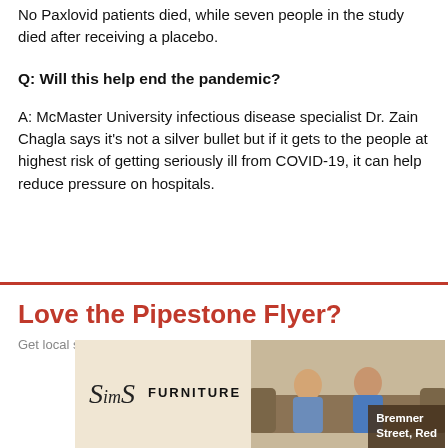No Paxlovid patients died, while seven people in the study died after receiving a placebo.
Q: Will this help end the pandemic?
A: McMaster University infectious disease specialist Dr. Zain Chagla says it's not a silver bullet but if it gets to the people at highest risk of getting seriously ill from COVID-19, it can help reduce pressure on hospitals.
Love the Pipestone Flyer?
Get local stories you won't find anywhere else right to your inbox.
[Figure (other): Sims Furniture advertisement with logo and photo of two people on a couch, with text 'Bremner Street, Red']